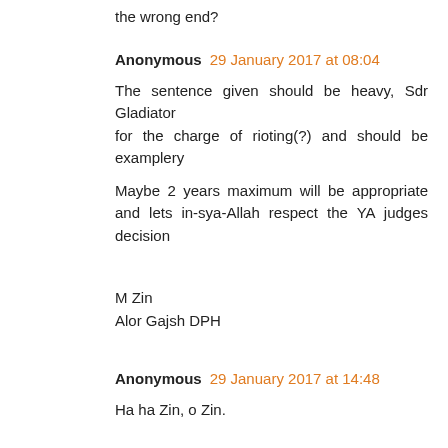the wrong end?
Anonymous 29 January 2017 at 08:04
The sentence given should be heavy, Sdr Gladiator
for the charge of rioting(?) and should be examplery
Maybe 2 years maximum will be appropriate and lets in-sya-Allah respect the YA judges decision
M Zin
Alor Gajsh DPH
Anonymous 29 January 2017 at 14:48
Ha ha Zin, o Zin.